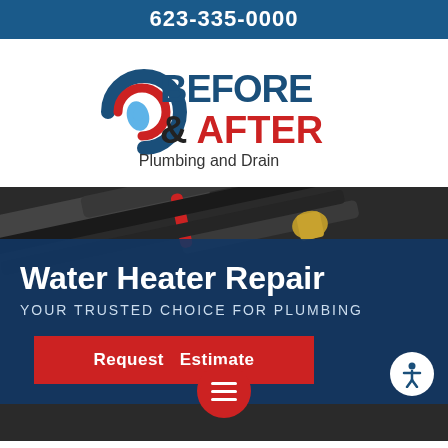623-335-0000
[Figure (logo): Before & After Plumbing and Drain logo with water drop icon in blue and red circular design]
[Figure (photo): Close-up photo of plumbing pipes and fittings on a dark background]
Water Heater Repair
YOUR TRUSTED CHOICE FOR PLUMBING
Request Estimate